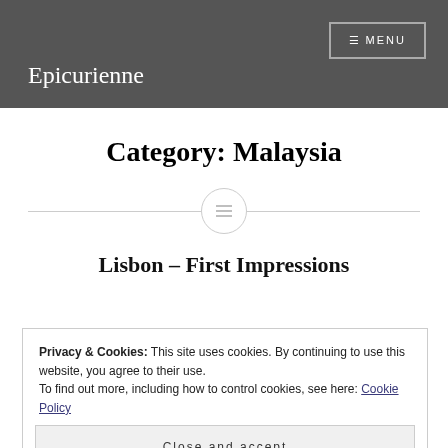Epicurienne
Category: Malaysia
[Figure (other): Decorative horizontal divider with a circle icon containing three horizontal lines (menu/list icon)]
Lisbon – First Impressions
Privacy & Cookies: This site uses cookies. By continuing to use this website, you agree to their use.
To find out more, including how to control cookies, see here: Cookie Policy
Close and accept
and me, yet we'd decided to go and check out both Lisbon